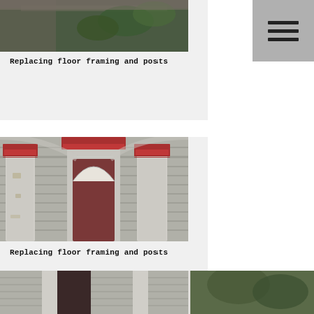[Figure (photo): Partial view of a building exterior showing vegetation and structural elements, top portion cropped]
Replacing floor framing and posts
[Figure (photo): Photo of a Victorian-style porch entrance with white columns showing peeling paint, red decorative capitals, arched window/door surround, and horizontal siding]
Replacing floor framing and posts
[Figure (photo): Bottom strip showing portions of two photos: left shows a porch/entrance with dark door, right shows trees/vegetation]
[Figure (screenshot): Menu/hamburger icon button — three horizontal lines on grey background, positioned top right]